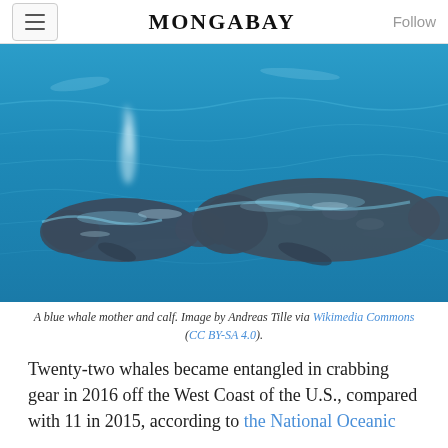MONGABAY
[Figure (photo): Aerial photograph of a blue whale mother and calf swimming in bright blue ocean water, with a spout of water visible above one of the whales.]
A blue whale mother and calf. Image by Andreas Tille via Wikimedia Commons (CC BY-SA 4.0).
Twenty-two whales became entangled in crabbing gear in 2016 off the West Coast of the U.S., compared with 11 in 2015, according to the National Oceanic